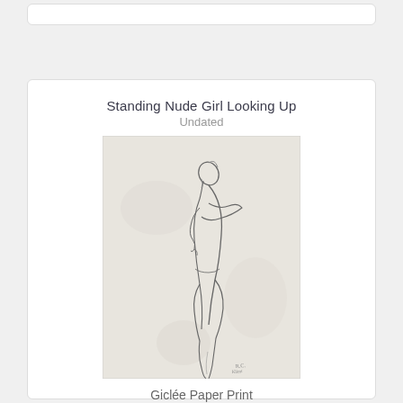Standing Nude Girl Looking Up
Undated
[Figure (illustration): Pencil sketch of a standing nude female figure looking upward, arms crossed over chest, body turned in profile, drawn in delicate graphite lines on light paper with an artist signature in the lower right corner.]
Giclée Paper Print